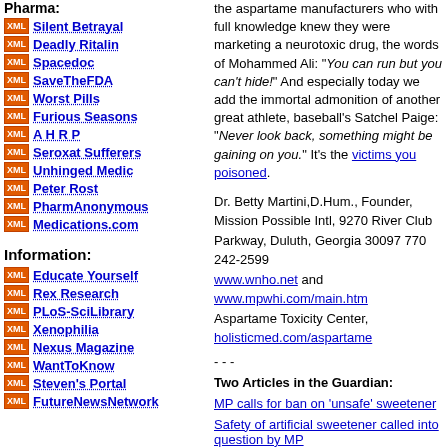Pharma:
Silent Betrayal
Deadly Ritalin
Spacedoc
SaveTheFDA
Worst Pills
Furious Seasons
A H R P
Seroxat Sufferers
Unhinged Medic
Peter Rost
PharmAnonymous
Medications.com
Information:
Educate Yourself
Rex Research
PLoS-SciLibrary
Xenophilia
Nexus Magazine
WantToKnow
Steven's Portal
FutureNewsNetwork
the aspartame manufacturers who with full knowledge knew they were marketing a neurotoxic drug, the words of Mohammed Ali: "You can run but you can't hide!" And especially today we add the immortal admonition of another great athlete, baseball's Satchel Paige: "Never look back, something might be gaining on you." It's the victims you poisoned.
Dr. Betty Martini,D.Hum., Founder, Mission Possible Intl, 9270 River Club Parkway, Duluth, Georgia 30097 770 242-2599 www.wnho.net and www.mpwhi.com/main.htm Aspartame Toxicity Center, holisticmed.com/aspartame
- - -
Two Articles in the Guardian:
MP calls for ban on 'unsafe' sweetener
Safety of artificial sweetener called into question by MP